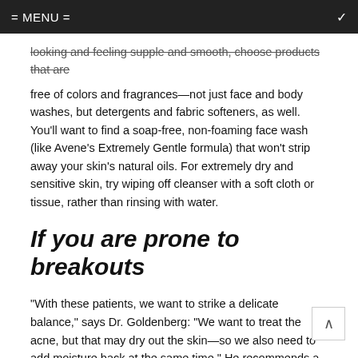= MENU =
looking and feeling supple and smooth, choose products that are free of colors and fragrances—not just face and body washes, but detergents and fabric softeners, as well. You'll want to find a soap-free, non-foaming face wash (like Avene's Extremely Gentle formula) that won't strip away your skin's natural oils. For extremely dry and sensitive skin, try wiping off cleanser with a soft cloth or tissue, rather than rinsing with water.
If you are prone to breakouts
"With these patients, we want to strike a delicate balance," says Dr. Goldenberg: "We want to treat the acne, but that may dry out the skin—so we also need to add moisture back at the same time." He recommends a gentle, non-foaming facial cleanser and a lightweight, non-comedogenic moisturizer that won't clog pores. If you're using a retinoid product for its acne-fighting benefits, you may find that everyday use is too irritating in the winter. Instead of applying it straight to your face, try mixing a